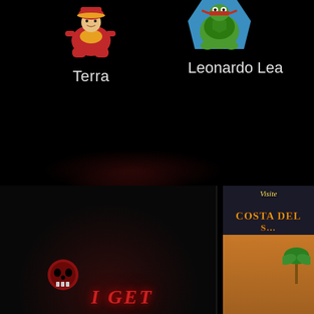[Figure (screenshot): App grid screenshot on a dark/black background showing two app icons at the top: 'Terra' on the left with a martial arts character sprite icon, and 'Leonardo Lea...' on the right with a green character/frog icon. At the bottom, two app thumbnails are partially visible: a dark game screenshot on the left with red glowing text 'I GET', and a colorful game screenshot on the right showing 'Visite COSTA DEL S...' text.]